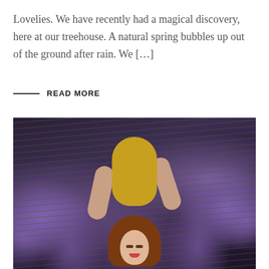Lovelies. We have recently had a magical discovery, here at our treehouse. A natural spring bubbles up out of the ground after rain. We […]
READ MORE
[Figure (photo): Aerial view of a young woman with long auburn hair lying in a field of purple lavender flowers, wearing a yellow floral dress, eyes closed, shot from directly above.]